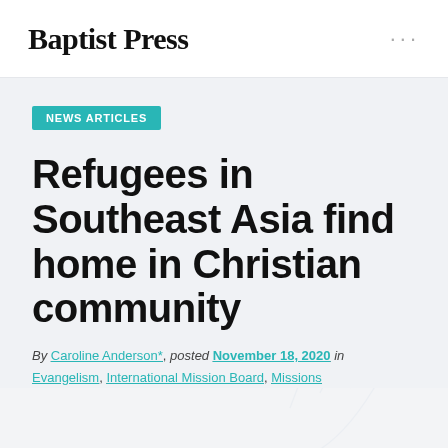Baptist Press
NEWS ARTICLES
Refugees in Southeast Asia find home in Christian community
By Caroline Anderson*, posted November 18, 2020 in Evangelism, International Mission Board, Missions